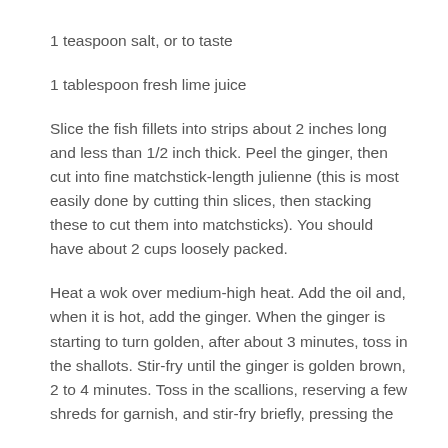1 teaspoon salt, or to taste
1 tablespoon fresh lime juice
Slice the fish fillets into strips about 2 inches long and less than 1/2 inch thick.  Peel the ginger, then cut into fine matchstick-length julienne (this is most easily done by cutting thin slices, then stacking these to cut them into matchsticks).  You should have about 2 cups loosely packed.
Heat a wok over medium-high heat.  Add the oil and, when it is hot, add the ginger.  When the ginger is starting to turn golden, after about 3 minutes, toss in the shallots.  Stir-fry until the ginger is golden brown, 2 to 4 minutes.  Toss in the scallions, reserving a few shreds for garnish, and stir-fry briefly, pressing the